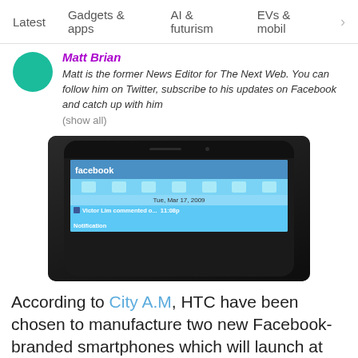Latest   Gadgets & apps   AI & futurism   EVs & mobil  >
Matt Brian
Matt is the former News Editor for The Next Web. You can follow him on Twitter, subscribe to his updates on Facebook and catch up with him
(show all)
[Figure (photo): Photo of an HTC smartphone displaying the Facebook mobile app screen dated Tue, Mar 17, 2009, showing a notification from Victor Lim at 11:08p]
According to City A.M, HTC have been chosen to manufacture two new Facebook-branded smartphones which will launch at Mobile World